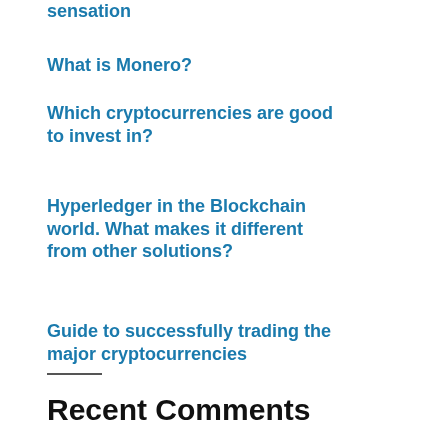sensation
What is Monero?
Which cryptocurrencies are good to invest in?
Hyperledger in the Blockchain world. What makes it different from other solutions?
Guide to successfully trading the major cryptocurrencies
Recent Comments